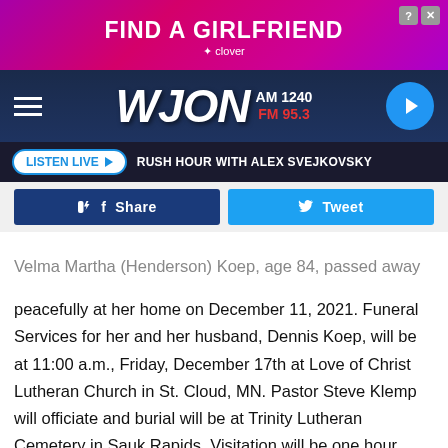[Figure (screenshot): Ad banner: FIND A GIRLFRIEND with Clover branding, pink/purple gradient background]
WJON AM 1240 FM 95.3
LISTEN LIVE ▶   RUSH HOUR WITH ALEX SVEJKOVSKY
Share   Tweet
Velma Martha (Henderson) Koep, age 84, passed away peacefully at her home on December 11, 2021. Funeral Services for her and her husband, Dennis Koep, will be at 11:00 a.m., Friday, December 17th at Love of Christ Lutheran Church in St. Cloud, MN. Pastor Steve Klemp will officiate and burial will be at Trinity Lutheran Cemetery in Sauk Rapids. Visitation will be one hour prior to the service on Friday at the church. Arrangements are entrusted to Williams Dingmann Family Funeral Home in Sauk Rapids.